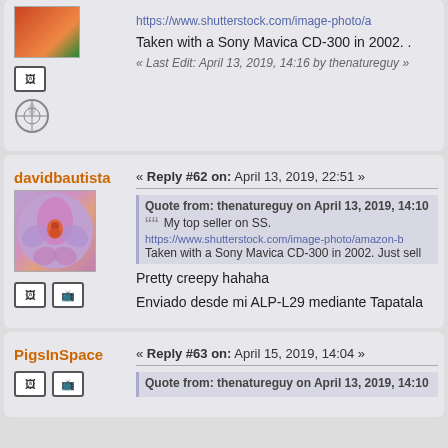[Figure (photo): Partial avatar image at top (colorful bird/parrot photo, cropped)]
https://www.shutterstock.com/image-photo/a
Taken with a Sony Mavica CD-300 in 2002.
« Last Edit: April 13, 2019, 14:16 by thenatureguy »
davidbautista
[Figure (photo): Avatar photo of a purple/pink orchid flower]
« Reply #62 on: April 13, 2019, 22:51 »
Quote from: thenatureguy on April 13, 2019, 14:10
My top seller on SS.
https://www.shutterstock.com/image-photo/amazon-b
Taken with a Sony Mavica CD-300 in 2002.  Just sell
Pretty creepy hahaha
Enviado desde mi ALP-L29 mediante Tapatala
PigsInSpace
« Reply #63 on: April 15, 2019, 14:04 »
Quote from: thenatureguy on April 13, 2019, 14:10